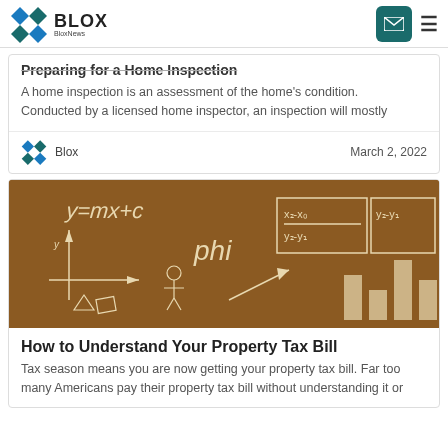BLOX / BloxNews
Preparing for a Home Inspection
A home inspection is an assessment of the home's condition. Conducted by a licensed home inspector, an inspection will mostly
Blox   March 2, 2022
[Figure (photo): Chalkboard with math formulas including y=mx+c, phi, fraction notation y2-y1 over x2-x1, and bar chart drawings in white chalk on brown background]
How to Understand Your Property Tax Bill
Tax season means you are now getting your property tax bill. Far too many Americans pay their property tax bill without understanding it or